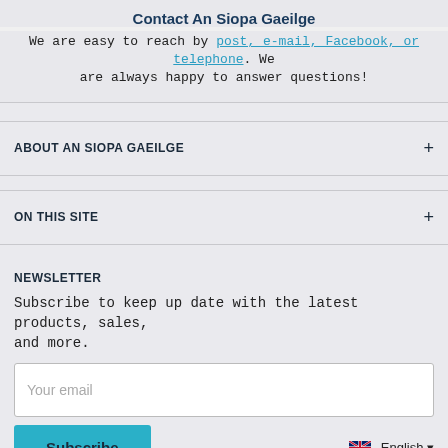Contact An Siopa Gaeilge
We are easy to reach by post, e-mail, Facebook, or telephone. We are always happy to answer questions!
ABOUT AN SIOPA GAEILGE
ON THIS SITE
NEWSLETTER
Subscribe to keep up date with the latest products, sales, and more.
Your email
Subscribe
English